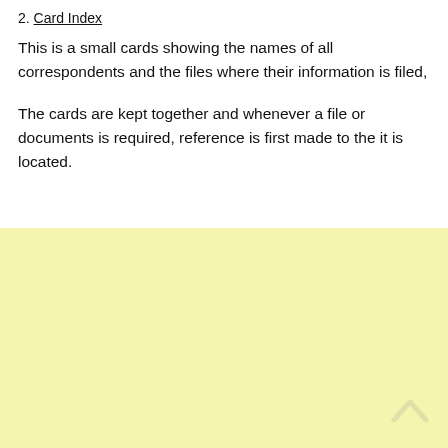2. Card Index
This is a small cards showing the names of all correspondents and the files where their information is filed,
The cards are kept together and whenever a file or documents is required, reference is first made to the it is located.
[Figure (other): Light yellow background area occupying the lower portion of the page, with a faint scroll/arrow icon in the bottom right corner.]